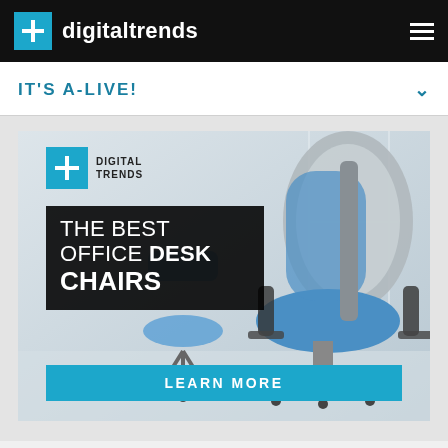digitaltrends
IT'S A-LIVE!
[Figure (illustration): Digital Trends advertisement for 'The Best Office Desk Chairs' showing an ergonomic office chair with blue seat and gray frame, with Digital Trends logo, black overlay text reading 'THE BEST OFFICE DESK CHAIRS', and a teal 'LEARN MORE' button.]